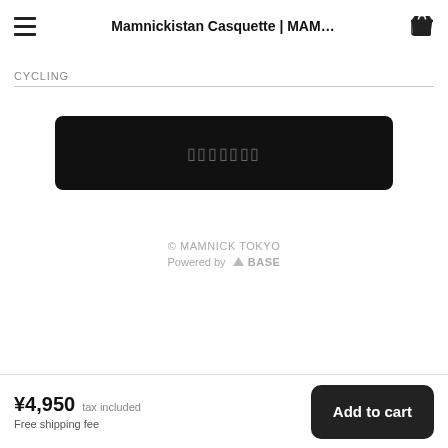Mamnickistan Casquette | MAM…
CYCLING
[Figure (other): Black rounded rectangle button with placeholder Japanese/special characters text in grey, serving as a product option or sold-out button]
© MAMNICK TOKYO
Powered by △BASE
¥4,950 tax included
Free shipping fee
Add to cart